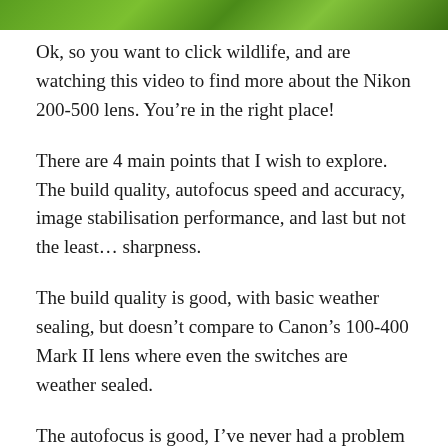[Figure (photo): Partial photo of green foliage/wildlife scene at the top of the page]
Ok, so you want to click wildlife, and are watching this video to find more about the Nikon 200-500 lens. You’re in the right place!
There are 4 main points that I wish to explore. The build quality, autofocus speed and accuracy, image stabilisation performance, and last but not the least… sharpness.
The build quality is good, with basic weather sealing, but doesn’t compare to Canon’s 100-400 Mark II lens where even the switches are weather sealed.
The autofocus is good, I’ve never had a problem with